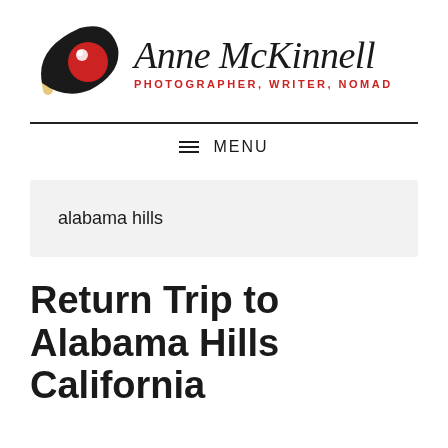[Figure (logo): Anne McKinnell Photography logo: stylized eye shape with red iris, black swoosh, and gold/cream curve, with site name 'Anne McKinnell' in italic serif and tagline 'PHOTOGRAPHER, WRITER, NOMAD' in red caps]
MENU
alabama hills
Return Trip to Alabama Hills California